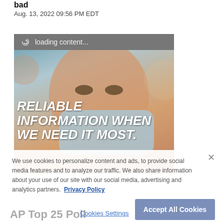bad
Aug. 13, 2022 09:56 PM EDT
[Figure (screenshot): A webpage screenshot showing a loading content bar over a photo of a person wearing a face mask, with overlaid text reading 'RELIABLE INFORMATION WHEN WE NEED IT MOST.' and 'Protect freedom of the press freespeech.center']
We use cookies to personalize content and ads, to provide social media features and to analyze our traffic. We also share information about your use of our site with our social media, advertising and analytics partners. Privacy Policy
AP Top 25 Poll
Cookies Settings
Accept All Cookies